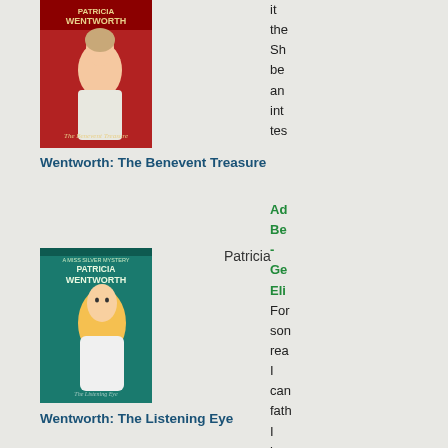[Figure (illustration): Book cover of Patricia Wentworth: The Benevent Treasure, red background with woman looking up]
Patricia
it the Sho be an inte tes
Wentworth: The Benevent Treasure
[Figure (illustration): Book cover of Patricia Wentworth: The Listening Eye, teal background with blonde woman]
Patricia
Ad Be - Ge Eli For som rea I can fath I hav nev rea this
Wentworth: The Listening Eye
[Figure (illustration): Book cover of Patricia Wentworth, man and woman in dark tones]
Patricia